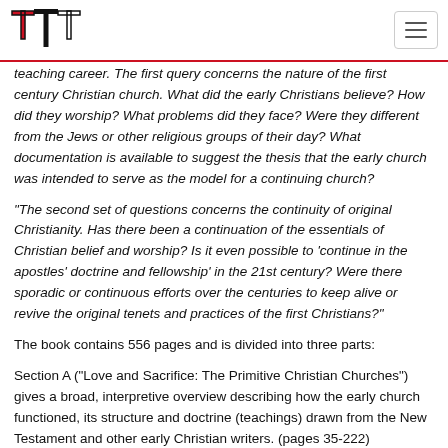TT logo and navigation
teaching career. The first query concerns the nature of the first century Christian church. What did the early Christians believe? How did they worship? What problems did they face? Were they different from the Jews or other religious groups of their day? What documentation is available to suggest the thesis that the early church was intended to serve as the model for a continuing church?
“The second set of questions concerns the continuity of original Christianity. Has there been a continuation of the essentials of Christian belief and worship? Is it even possible to ‘continue in the apostles’ doctrine and fellowship’ in the 21st century? Were there sporadic or continuous efforts over the centuries to keep alive or revive the original tenets and practices of the first Christians?”
The book contains 556 pages and is divided into three parts:
Section A (“Love and Sacrifice: The Primitive Christian Churches”) gives a broad, interpretive overview describing how the early church functioned, its structure and doctrine (teachings) drawn from the New Testament and other early Christian writers. (pages 35-222)